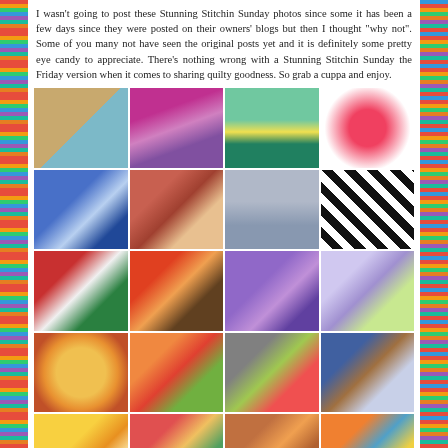I wasn't going to post these Stunning Stitchin Sunday photos since some it has been a few days since they were posted on their owners' blogs but then I thought "why not". Some of you many not have seen the original posts yet and it is definitely some pretty eye candy to appreciate. There's nothing wrong with a Stunning Stitchin Sunday the Friday version when it comes to sharing quilty goodness. So grab a cuppa and enjoy.
[Figure (photo): Grid of 20 quilt photos arranged in 5 rows of 4 columns, showing various quilt patterns including stars, hearts, chevrons, florals, and geometric designs]
1. Tamarack Shack  2. She Can Quilt  3. Alycia Quilts  4. Quilting...